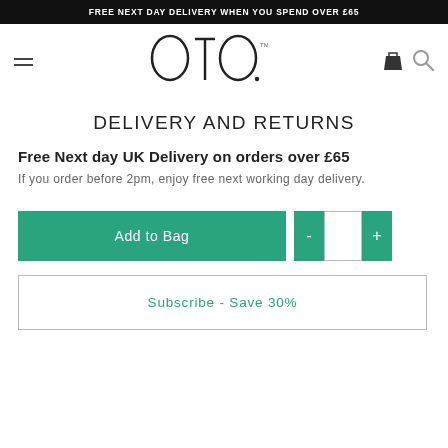FREE NEXT DAY DELIVERY WHEN YOU SPEND OVER £65
[Figure (logo): OTO brand logo in large serif/geometric font with TM mark]
DELIVERY AND RETURNS
Free Next day UK Delivery on orders over £65
If you order before 2pm, enjoy free next working day delivery.
Add to Bag
Subscribe - Save 30%